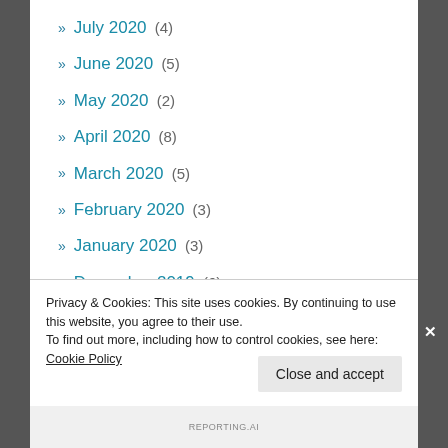» July 2020 (4)
» June 2020 (5)
» May 2020 (2)
» April 2020 (8)
» March 2020 (5)
» February 2020 (3)
» January 2020 (3)
» December 2019 (6)
» November 2019 (5)
» October 2019 (3)
» September 2019 (4)
Privacy & Cookies: This site uses cookies. By continuing to use this website, you agree to their use. To find out more, including how to control cookies, see here: Cookie Policy
Close and accept